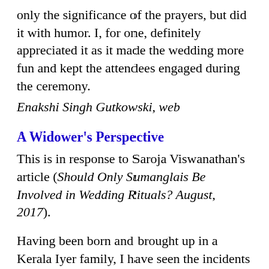only the significance of the prayers, but did it with humor. I, for one, definitely appreciated it as it made the wedding more fun and kept the attendees engaged during the ceremony.
Enakshi Singh Gutkowski, web
A Widower’s Perspective
This is in response to Saroja Viswanathan’s article (Should Only Sumanglais Be Involved in Wedding Rituals? August, 2017).
Having been born and brought up in a Kerala Iyer family, I have seen the incidents of alienating widows on several occasions